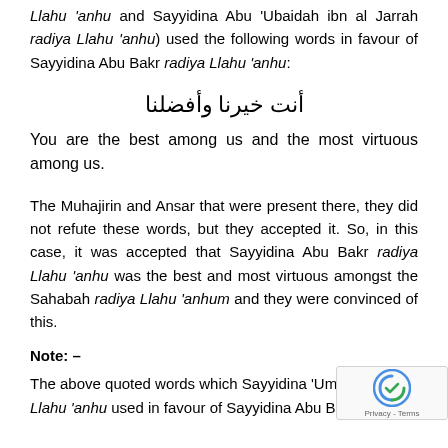Llahu 'anhu and Sayyidina Abu 'Ubaidah ibn al Jarrah radiya Llahu 'anhu) used the following words in favour of Sayyidina Abu Bakr radiya Llahu 'anhu:
أنت خيرنا وأفضلنا
You are the best among us and the most virtuous among us.
The Muhajirin and Ansar that were present there, they did not refute these words, but they accepted it. So, in this case, it was accepted that Sayyidina Abu Bakr radiya Llahu 'anhu was the best and most virtuous amongst the Sahabah radiya Llahu 'anhum and they were convinced of this.
Note: –
The above quoted words which Sayyidina 'Umar radiya Llahu 'anhu used in favour of Sayyidina Abu Bakr radiya